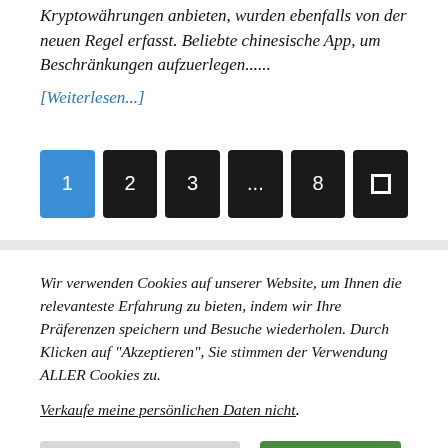Kryptowährungen anbieten, wurden ebenfalls von der neuen Regel erfasst. Beliebte chinesische App, um Beschränkungen aufzuerlegen......
[Weiterlesen...]
[Figure (other): Pagination buttons: 1 (active/blue), 2, 3, ..., 8, and a square icon button (all dark except active)]
Wir verwenden Cookies auf unserer Website, um Ihnen die relevanteste Erfahrung zu bieten, indem wir Ihre Präferenzen speichern und Besuche wiederholen. Durch Klicken auf "Akzeptieren", Sie stimmen der Verwendung ALLER Cookies zu.
Verkaufe meine persönlichen Daten nicht.
Cookie-Einstellungen   Annehmen